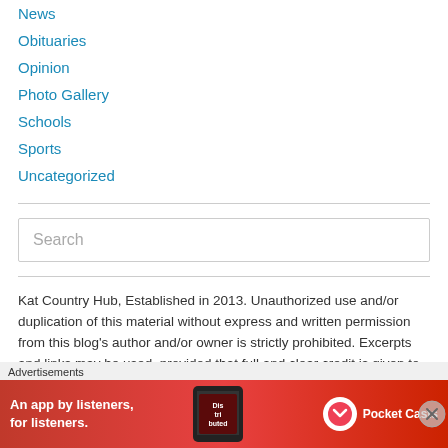News
Obituaries
Opinion
Photo Gallery
Schools
Sports
Uncategorized
Search
Kat Country Hub, Established in 2013. Unauthorized use and/or duplication of this material without express and written permission from this blog's author and/or owner is strictly prohibited. Excerpts and links may be used, provided that full and clear credit is given to Kat Country
Advertisements
[Figure (illustration): Pocket Casts advertisement banner: red background with text 'An app by listeners, for listeners.' and a phone showing 'Dis tri buted' app, with Pocket Casts logo on the right]